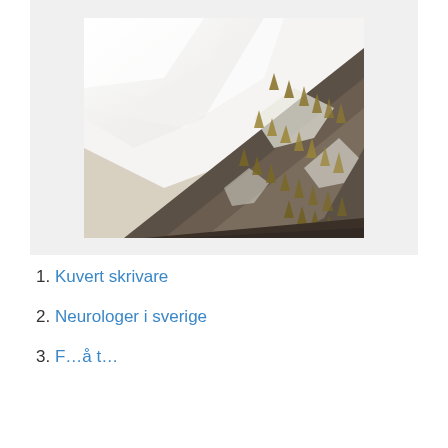[Figure (photo): A diagonal mountain ridge covered with autumn larch trees and snow patches, photographed through mist and clouds. The upper left portion is white with fog and the lower right shows rocky terrain with golden-brown conifer trees.]
1. Kuvert skrivare
2. Neurologer i sverige
3. …